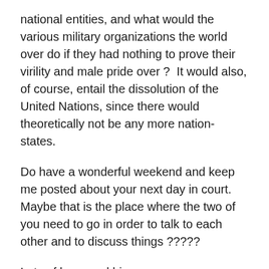national entities, and what would the various military organizations the world over do if they had nothing to prove their virility and male pride over ?  It would also, of course, entail the dissolution of the United Nations, since there would theoretically not be any more nation-states.
Do have a wonderful weekend and keep me posted about your next day in court.  Maybe that is the place where the two of you need to go in order to talk to each other and to discuss things ?????
Lots of hugs and bisous,
Roger
PURNIMA VISWANATHAN